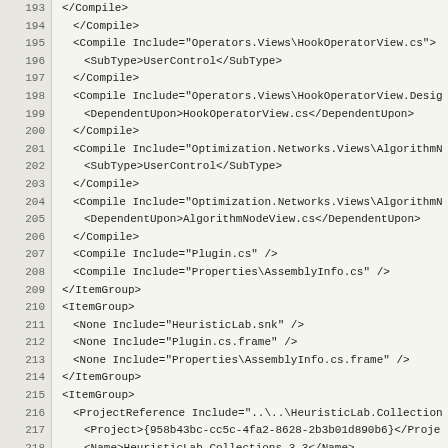[Figure (screenshot): Source code editor showing XML/MSBuild project file content with line numbers 193-220. Lines show Compile and None elements with Include attributes referencing various .cs files and project references.]